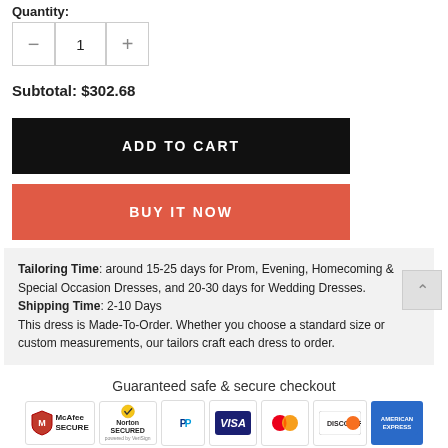Quantity:
[Figure (other): Quantity selector with minus button, value 1, plus button]
Subtotal: $302.68
ADD TO CART
BUY IT NOW
Tailoring Time: around 15-25 days for Prom, Evening, Homecoming & Special Occasion Dresses, and 20-30 days for Wedding Dresses. Shipping Time: 2-10 Days This dress is Made-To-Order. Whether you choose a standard size or custom measurements, our tailors craft each dress to order.
Guaranteed safe & secure checkout
[Figure (other): Security badges: McAfee Secure, Norton Secured, PayPal, Visa, Mastercard, Discover, American Express]